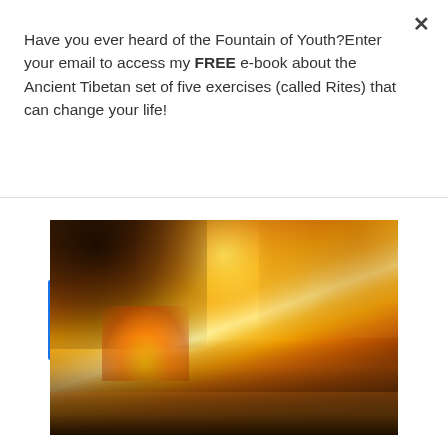Have you ever heard of the Fountain of Youth?Enter your email to access my FREE e-book about the Ancient Tibetan set of five exercises (called Rites) that can change your life!
Subscribe
[Figure (photo): A painting or artistic rendering of a city on fire, with large dark smoke clouds rising on the left, intense orange and yellow flames and glowing sky in the center, building silhouettes along a waterfront, and water in the foreground reflecting the flames.]